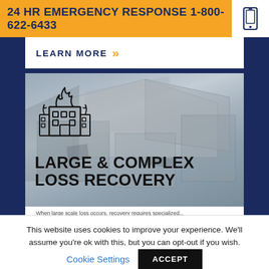24 HR EMERGENCY RESPONSE 1-800-622-6433
LEARN MORE »
[Figure (photo): Aerial view of damaged buildings/rooftops with fire/destruction icon overlay and text 'LARGE & COMPLEX LOSS RECOVERY']
This website uses cookies to improve your experience. We'll assume you're ok with this, but you can opt-out if you wish.
Cookie Settings   ACCEPT